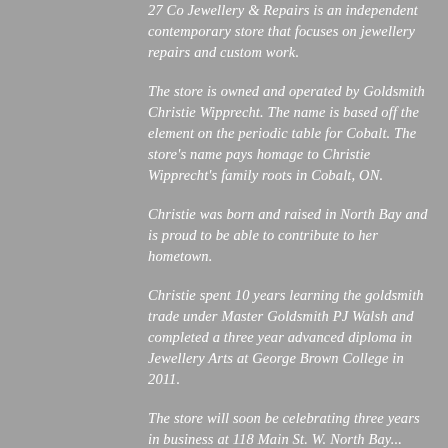27 Co Jewellery & Repairs is an independent contemporary store that focuses on jewellery repairs and custom work.
The store is owned and operated by Goldsmith Christie Wipprecht. The name is based off the element on the periodic table for Cobalt. The store's name pays homage to Christie Wipprecht's family roots in Cobalt, ON.
Christie was born and raised in North Bay and is proud to be able to contribute to her hometown.
Christie spent 10 years learning the goldsmith trade under Master Goldsmith PJ Walsh and completed a three year advanced diploma in Jewellery Arts at George Brown College in 2011.
The store will soon be celebrating three years in business at 118 Main St. W. North Bay...